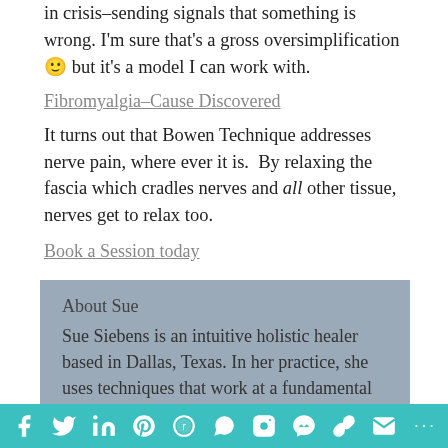in crisis–sending signals that something is wrong. I'm sure that's a gross oversimplification 🙂 but it's a model I can work with.
Fibromyalgia–Cause Discovered
It turns out that Bowen Technique addresses nerve pain, where ever it is.  By relaxing the fascia which cradles nerves and all other tissue, nerves get to relax too.
Book a Session today
About Sue
Sue Siebens is an intuitive holistic healer based in Dallas, Texas. In her practice, she uses techniques that work at a fundamental level, where the roots of the illness, fear and pain can be accessed and
Social share bar: f (Facebook), Twitter, LinkedIn, Pinterest, Reddit, WhatsApp, Instagram, Messenger, Copy, Email, More